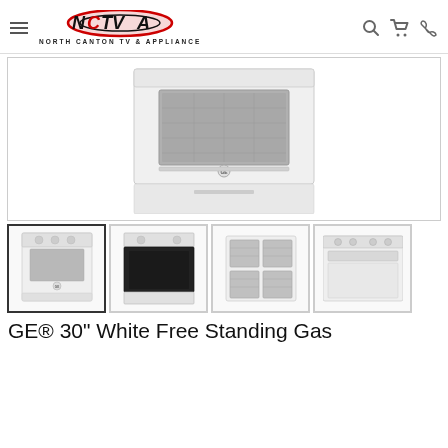North Canton TV & Appliance — NCTVA
[Figure (photo): Main product photo: GE white free standing gas range, front view showing oven window with GE logo, drawer at bottom, white finish]
[Figure (photo): Thumbnail 1: GE white gas range full front view]
[Figure (photo): Thumbnail 2: GE white gas range with oven door open]
[Figure (photo): Thumbnail 3: Top view of gas range cooktop with 4 burner grates]
[Figure (photo): Thumbnail 4: Close-up side/back view of range]
GE® 30" White Free Standing Gas